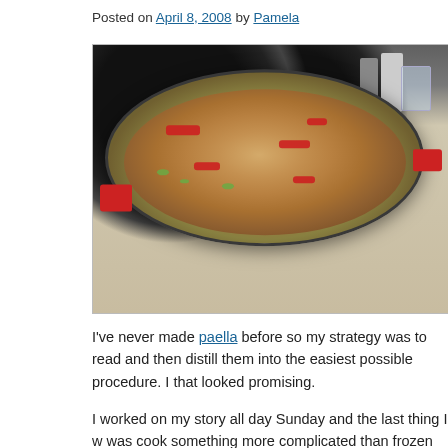Posted on April 8, 2008 by Pamela
[Figure (photo): A large paella pan with red handles sitting on a stovetop, filled with chunks of chicken, red peppers, green peas, and rice.]
I've never made paella before so my strategy was to read and then distill them into the easiest possible procedure. I that looked promising.
I worked on my story all day Sunday and the last thing I w was cook something more complicated than frozen pizza